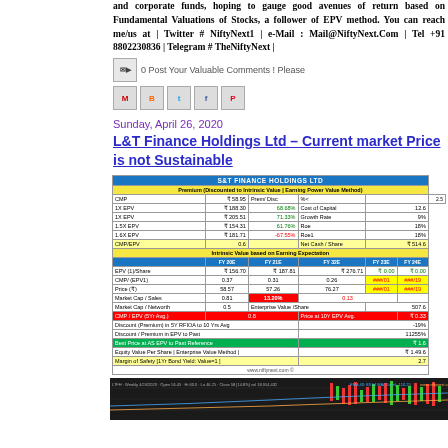and corporate funds, hoping to gauge good avenues of return based on Fundamental Valuations of Stocks, a follower of EPV method. You can reach me/us at | Twitter # NiftyNext1 | e-Mail : Mail@NiftyNext.Com | Tel +91 8802230836 | Telegram # TheNiftyNext |
0 Post Your Valuable Comments ! Please
Share icons: M, B, t, f, P
Sunday, April 26, 2020
L&T Finance Holdings Ltd – Current market Price is not Sustainable
|  | Value | Prem/Disc | Label |  |  |
| --- | --- | --- | --- | --- | --- |
| S&T FINANCE HOLDINGS LTD |  |  |  |  |  |
| Premium (Discounted to Intrinsic Value | Earning Power Value Method) |  |  |  |  |  |
| CMP | ₹ 58.95 | Prem/ Disc | %< |  | 2.5 |
| 1X EPV | ₹ 188.30 | 68.68% | Cost of Capital |  | 12.6 |
| 1X EPV | ₹ 205.51 | 71.33% | Growth Rate |  | 9% |
| 1.5X EPV | ₹ 154.31 | 61.76% | Roe |  | 18% |
| 1.6X EPV | ₹ 181.71 | -67.55% | Roe1 |  | 18% |
| CMP/EPV | 0.6 |  | Net Cash / Share |  | ₹ 514.6 |
| Intrinsic Value based on Earning Expectation |  |  |  |  |  |
|  | FY 20E | FY 21E | FY 32E | FY 23E | FY 24E |
| EPV (1)/Share | ₹ 156.70 | ₹ 187.81 | ₹ 276.71 | ₹ 0.00 | ₹ 0.00 |
| CMP/ (EPV1) | 0.37 | 0.31 | 0.26 | ###/01 | ###/19 |
| Price (₹) | 58.57 | 57.26 | 76.27 | ###/01 | ###/19 |
| Market Cap / Sales | 0.81 | 13.20% | 0.13 |  |  |
| Market Cap / Networth | 0.5 | Enterprise Value /Share |  |  | 507.6 |
| CMP / EPV (5Yr Avg.) | 0.8 |  | Price at 10Y EPV Avg. |  | ₹ 0.33 |
| Discount (Premium) in 5Y RFIOA to 10 Yrs Avg |  |  |  |  | -19% |
| Discount / Premium in EPV to Past |  |  |  |  | 11255% |
| Best Price at AS EPV to Past Reference |  |  |  |  | ₹ 1.6 |
| Equity Value Per Share | Enterprise Value Method | |  |  |  |  | ₹ 1.49.6 |
| Margin of Safety [1Yr Bond Yield: Value=1 ] |  |  |  |  | 2.7 |
| www.niftynext.com © |  |  |  |  |  |
[Figure (continuous-plot): Candlestick weekly chart of LTFH (L&T Finance Holdings) showing price action around April 2020 with moving average lines overlay. Shows Open 56.45 Hi 60.0 Lo 46.25 Close 58 vol 18,954,432. EMA 40: 83.54, MA(Close): 110.25.]